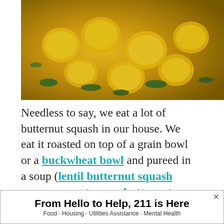[Figure (photo): Close-up photo of yellow/golden squash pieces with green herbs on a plate]
Needless to say, we eat a lot of butternut squash in our house. We eat it roasted on top of a grain bowl or a buckwheat bowl and pureed in a soup (lentil butternut squash soup, coconut curry butternut squash soup).
We make this mashed butternut s...on